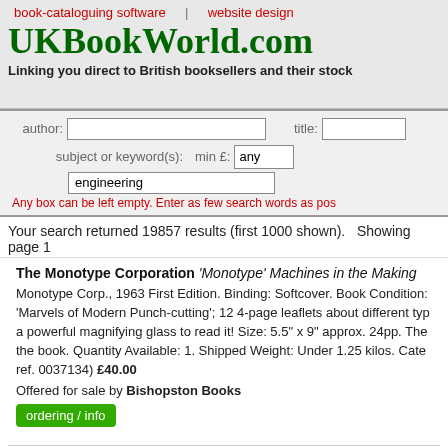book-cataloguing software | website design
UKBookWorld.com
Linking you direct to British booksellers and their stock
author: [input] title: [input] subject or keyword(s): engineering  min £: any
Any box can be left empty. Enter as few search words as pos
Your search returned 19857 results (first 1000 shown).   Showing page 1
The Monotype Corporation 'Monotype' Machines in the Making Monotype Corp., 1963 First Edition. Binding: Softcover. Book Condition: 'Marvels of Modern Punch-cutting'; 12 4-page leaflets about different typ a powerful magnifying glass to read it! Size: 5.5" x 9" approx. 24pp. The the book. Quantity Available: 1. Shipped Weight: Under 1.25 kilos. Cate ref. 0037134) £40.00
Offered for sale by Bishopston Books
ordering / info
Rolt Hammond Tunnel Engineering